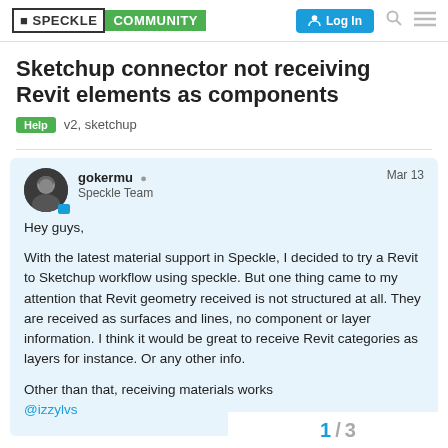SPECKLE COMMUNITY | Log In
Sketchup connector not receiving Revit elements as components
Help  v2, sketchup
gokermu  Speckle Team  Mar 13
Hey guys,

With the latest material support in Speckle, I decided to try a Revit to Sketchup workflow using speckle. But one thing came to my attention that Revit geometry received is not structured at all. They are received as surfaces and lines, no component or layer information. I think it would be great to receive Revit categories as layers for instance. Or any other info.

Other than that, receiving materials works
@izzylvs
1 / 3